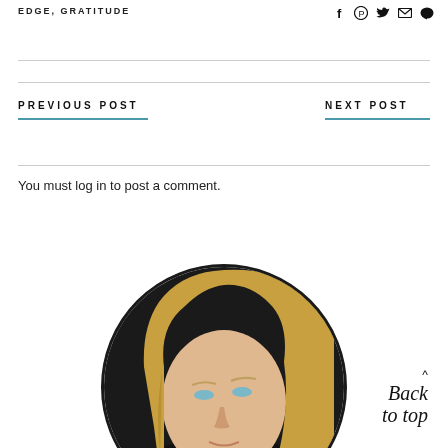EDGE, GRATITUDE
social share icons: f, pinterest, twitter, email, comment
PREVIOUS POST
NEXT POST
You must log in to post a comment.
[Figure (photo): Circular cropped portrait photo of a blonde woman looking upward, with a 'back to top' script overlay in the lower right]